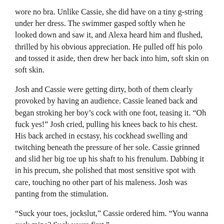wore no bra. Unlike Cassie, she did have on a tiny g-string under her dress. The swimmer gasped softly when he looked down and saw it, and Alexa heard him and flushed, thrilled by his obvious appreciation. He pulled off his polo and tossed it aside, then drew her back into him, soft skin on soft skin.
Josh and Cassie were getting dirty, both of them clearly provoked by having an audience. Cassie leaned back and began stroking her boy’s cock with one foot, teasing it. “Oh fuck yes!” Josh cried, pulling his knees back to his chest. His back arched in ecstasy, his cockhead swelling and twitching beneath the pressure of her sole. Cassie grinned and slid her big toe up his shaft to his frenulum. Dabbing it in his precum, she polished that most sensitive spot with care, touching no other part of his maleness. Josh was panting from the stimulation.
“Suck your toes, jockslut,” Cassie ordered him. “You wanna suck mine? Suck yours first.”
Josh didn’t hesitate for a second. He seized an ankle and